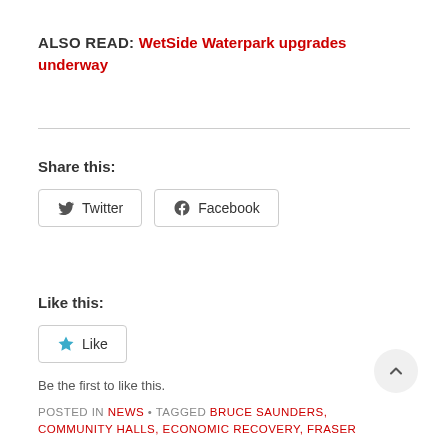ALSO READ: WetSide Waterpark upgrades underway
Share this:
[Figure (other): Twitter and Facebook share buttons]
Like this:
[Figure (other): Like button with star icon]
Be the first to like this.
POSTED IN NEWS • TAGGED BRUCE SAUNDERS, COMMUNITY HALLS, ECONOMIC RECOVERY, FRASER